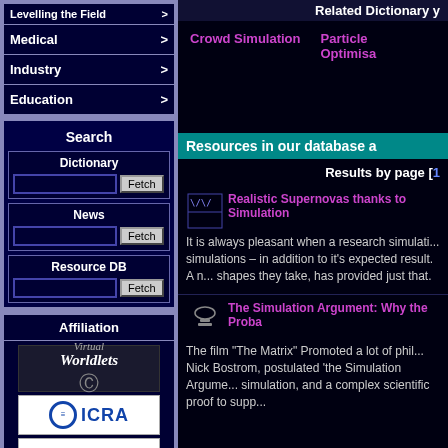Levelling the Field >
Medical >
Industry >
Education >
Search
Dictionary | Fetch
News | Fetch
Resource DB | Fetch
Affiliation
[Figure (logo): Virtual Worldlets logo]
[Figure (logo): ICRA logo]
[Figure (logo): Lynx Inspected logo]
Related Dictionary y
Crowd Simulation
Particle Optimisa
Resources in our database a
Results by page [1
Realistic Supernovas thanks to Simulation
It is always pleasant when a research simulati... simulations – in addition to it's expected result. A n... shapes they take, has provided just that.
The Simulation Argument: Why the Proba
The film "The Matrix" Promoted a lot of phil... Nick Bostrom, postulated 'the Simulation Argume... simulation, and a complex scientific proof to supp...